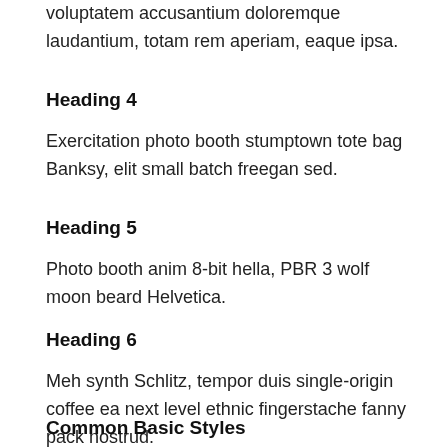voluptatem accusantium doloremque laudantium, totam rem aperiam, eaque ipsa.
Heading 4
Exercitation photo booth stumptown tote bag Banksy, elit small batch freegan sed.
Heading 5
Photo booth anim 8-bit hella, PBR 3 wolf moon beard Helvetica.
Heading 6
Meh synth Schlitz, tempor duis single-origin coffee ea next level ethnic fingerstache fanny pack nostrud.
Common Basic Styles